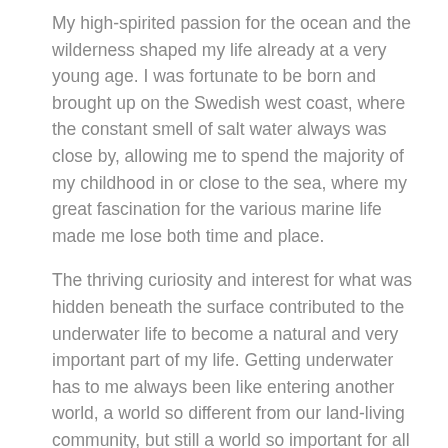My high-spirited passion for the ocean and the wilderness shaped my life already at a very young age. I was fortunate to be born and brought up on the Swedish west coast, where the constant smell of salt water always was close by, allowing me to spend the majority of my childhood in or close to the sea, where my great fascination for the various marine life made me lose both time and place.
The thriving curiosity and interest for what was hidden beneath the surface contributed to the underwater life to become a natural and very important part of my life. Getting underwater has to me always been like entering another world, a world so different from our land-living community, but still a world so important for all life living on dry land. Being raised in an adventurous, ocean-loving family encouraged my strong interest and lifestyle choice of living and sharing my passion.
I believe that when we are passionate about something, it